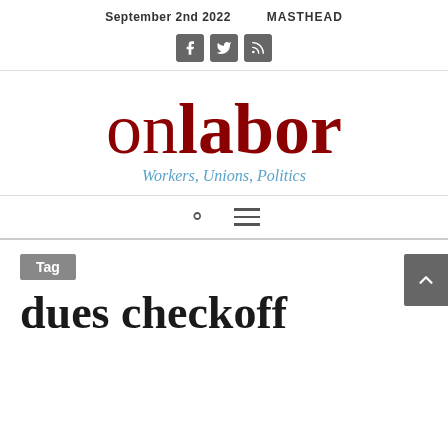September 2nd 2022    MASTHEAD
[Figure (other): Social media icons: Facebook, Twitter, RSS feed]
onlabor Workers, Unions, Politics
Tag
dues checkoff